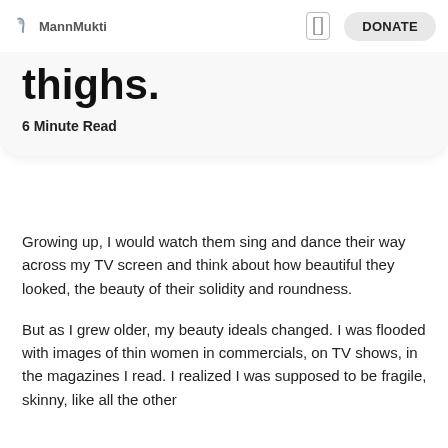MannMukti   DONATE
thighs.
6 Minute Read
Growing up, I would watch them sing and dance their way across my TV screen and think about how beautiful they looked, the beauty of their solidity and roundness.
But as I grew older, my beauty ideals changed. I was flooded with images of thin women in commercials, on TV shows, in the magazines I read. I realized I was supposed to be fragile, skinny, like all the other